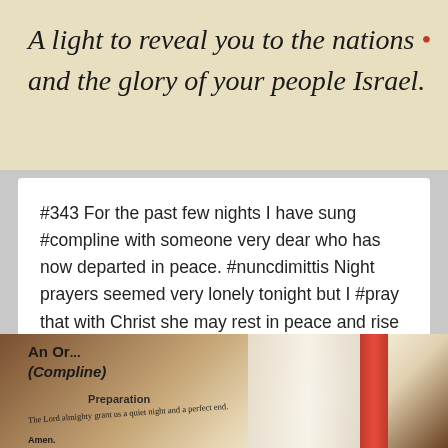[Figure (photo): Close-up photo of a book or missal page showing italic serif text on cream/beige paper reading 'A light to reveal you to the nations' with a small red dot, and 'and the glory of your people Israel.']
#343 For the past few nights I have sung #compline with someone very dear who has now departed in peace. #nuncdimittis Night prayers seemed very lonely tonight but I #pray that with Christ she may rest in peace and rise in glory.
July 5, 2016   1
[Figure (photo): Close-up photo of an open book showing text 'An Or... (Compline)' as a heading, 'Preparation' as a subheading, and the text 'The Lord almighty grant us a quiet night and a perfect end. Amen.' and partial text 'ame of the Lord'. A red bookmark ribbon is visible on the right edge.]